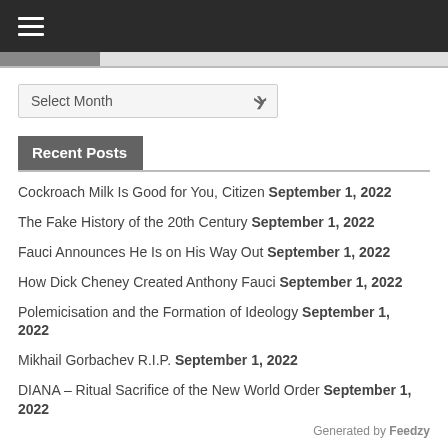≡ (hamburger menu icon)
Cockroach Milk Is Good for You, Citizen September 1, 2022
The Fake History of the 20th Century September 1, 2022
Fauci Announces He Is on His Way Out September 1, 2022
How Dick Cheney Created Anthony Fauci September 1, 2022
Polemicisation and the Formation of Ideology September 1, 2022
Mikhail Gorbachev R.I.P. September 1, 2022
DIANA – Ritual Sacrifice of the New World Order September 1, 2022
Generated by Feedzy